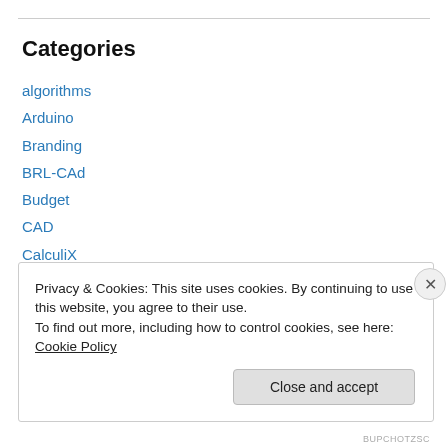Categories
algorithms
Arduino
Branding
BRL-CAd
Budget
CAD
CalculiX
casting
Civil Rights
Cloud computing
Privacy & Cookies: This site uses cookies. By continuing to use this website, you agree to their use.
To find out more, including how to control cookies, see here: Cookie Policy
Close and accept